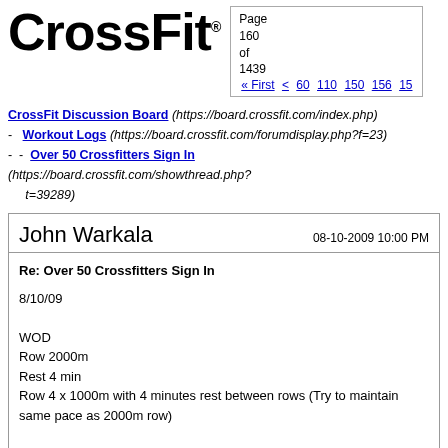CrossFit® — Page 160 of 1439 — « First < 60 110 150 156 15...
CrossFit Discussion Board (https://board.crossfit.com/index.php)
- Workout Logs (https://board.crossfit.com/forumdisplay.php?f=23)
- - Over 50 Crossfitters Sign In (https://board.crossfit.com/showthread.php?t=39289)
John Warkala — 08-10-2009 10:00 PM
Re: Over 50 Crossfitters Sign In
8/10/09
WOD
Row 2000m
Rest 4 min
Row 4 x 1000m with 4 minutes rest between rows (Try to maintain same pace as 2000m row)
2000m - 7:31.8
1000m
1. 3:49.4
2. 3:53.6
3. 3:59.0